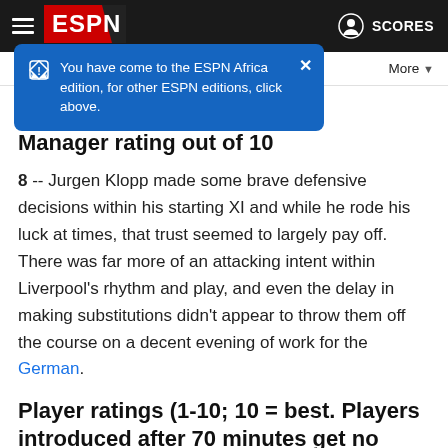ESPN | hamburger menu | SCORES
You have come to the ESPN Africa edition, for other ESPN editions, click above.
Manager rating out of 10
8 -- Jurgen Klopp made some brave defensive decisions within his starting XI and while he rode his luck at times, that trust seemed to largely pay off. There was far more of an attacking intent within Liverpool's rhythm and play, and even the delay in making substitutions didn't appear to throw them off the course on a decent evening of work for the German.
Player ratings (1-10; 10 = best. Players introduced after 70 minutes get no rating)
GK Alisson, 9 -- The Brazilian was back to his best today, making several important saves to keep Liverpool ahead.